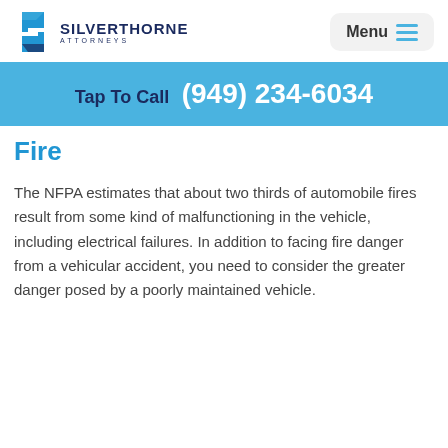SILVERTHORNE ATTORNEYS
Tap To Call (949) 234-6034
Fire
The NFPA estimates that about two thirds of automobile fires result from some kind of malfunctioning in the vehicle, including electrical failures. In addition to facing fire danger from a vehicular accident, you need to consider the greater danger posed by a poorly maintained vehicle.